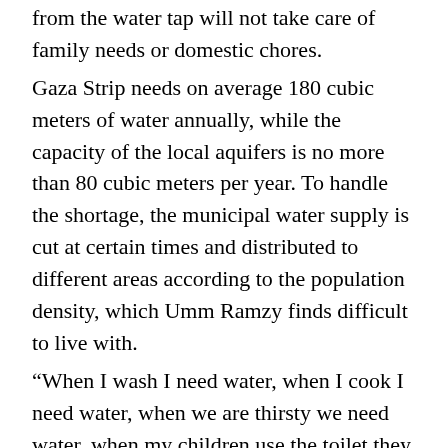from the water tap will not take care of family needs or domestic chores.
Gaza Strip needs on average 180 cubic meters of water annually, while the capacity of the local aquifers is no more than 80 cubic meters per year. To handle the shortage, the municipal water supply is cut at certain times and distributed to different areas according to the population density, which Umm Ramzy finds difficult to live with.
“When I wash I need water, when I cook I need water, when we are thirsty we need water, when my children use the toilet they need water,” she said.